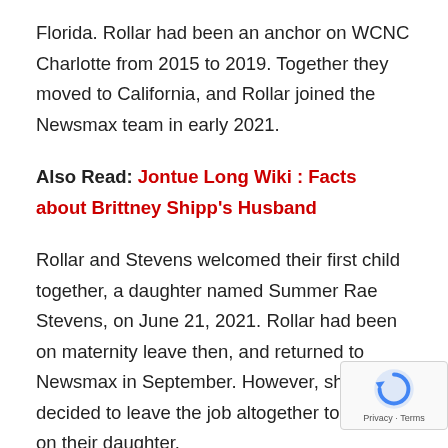Florida. Rollar had been an anchor on WCNC Charlotte from 2015 to 2019. Together they moved to California, and Rollar joined the Newsmax team in early 2021.
Also Read: Jontue Long Wiki : Facts about Brittney Shipp's Husband
Rollar and Stevens welcomed their first child together, a daughter named Summer Rae Stevens, on June 21, 2021. Rollar had been on maternity leave then, and returned to Newsmax in September. However, she's decided to leave the job altogether to focus on their daughter.